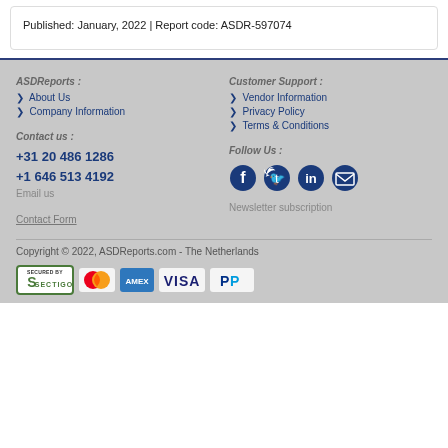Published: January, 2022 | Report code: ASDR-597074
ASDReports :
About Us
Company Information
Customer Support :
Vendor Information
Privacy Policy
Terms & Conditions
Contact us :
+31 20 486 1286
+1 646 513 4192
Email us
Follow Us :
[Figure (other): Social media icons: Facebook, Twitter, LinkedIn, Email]
Newsletter subscription
Contact Form
Copyright © 2022, ASDReports.com - The Netherlands
[Figure (other): Payment badges: Sectigo Secured, Mastercard, American Express, Visa, PayPal]